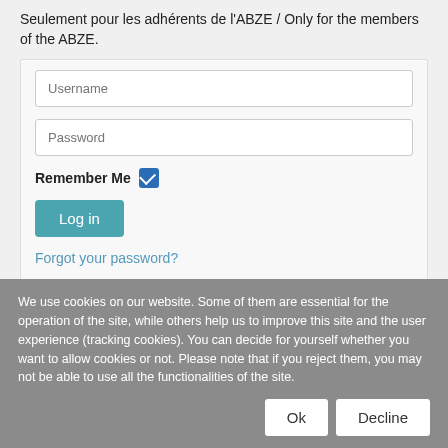Seulement pour les adhérents de l'ABZE / Only for the members of the ABZE.
[Figure (screenshot): Login form with Username and Password input fields, a Remember Me checkbox (checked, blue), a teal Log in button, and a Forgot your password? link.]
We use cookies on our website. Some of them are essential for the operation of the site, while others help us to improve this site and the user experience (tracking cookies). You can decide for yourself whether you want to allow cookies or not. Please note that if you reject them, you may not be able to use all the functionalities of the site.